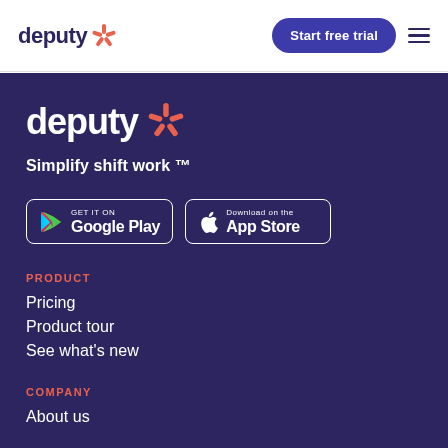[Figure (logo): Deputy logo with coral star/asterisk graphic, dark navy text, in white navigation bar]
Start free trial
[Figure (logo): Deputy logo large white text with coral star graphic on dark navy background]
Simplify shift work ™
[Figure (logo): Google Play badge - GET IT ON Google Play with multicolor play triangle icon]
[Figure (logo): App Store badge - Download on the App Store with Apple logo]
PRODUCT
Pricing
Product tour
See what's new
COMPANY
About us